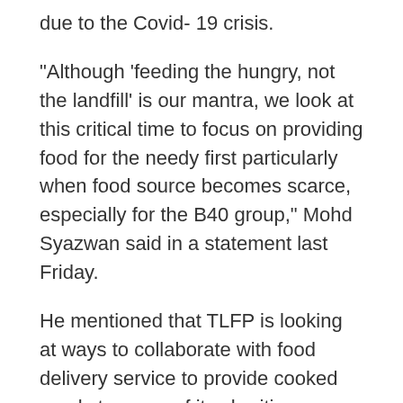due to the Covid- 19 crisis.
“Although ‘feeding the hungry, not the landfill’ is our mantra, we look at this critical time to focus on providing food for the needy first particularly when food source becomes scarce, especially for the B40 group,” Mohd Syazwan said in a statement last Friday.
He mentioned that TLFP is looking at ways to collaborate with food delivery service to provide cooked meals to some of its charities.
“A platform will also be launched soon to allow people to contribute as these meals will incur some cost for preparation,” he said.
Mohd Syazwan stressed that all of the efforts will be conducted within the MCO guidelines and TLFP is